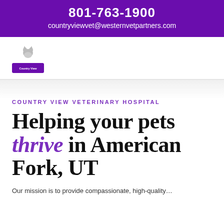801-763-1900
countryviewvet@westernvetpartners.com
[Figure (logo): Country View Veterinary Hospital logo with a cat/dog silhouette above a purple banner with the clinic name]
COUNTRY VIEW VETERINARY HOSPITAL
Helping your pets thrive in American Fork, UT
Our mission is to provide compassionate, high-quality...